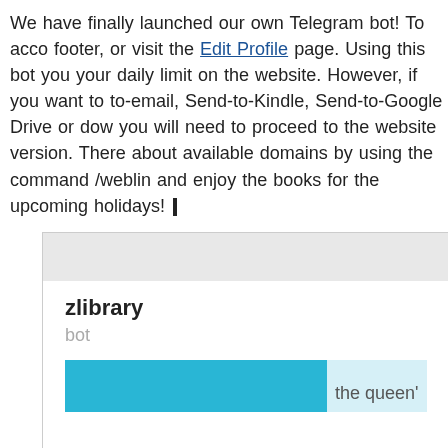We have finally launched our own Telegram bot! To acco footer, or visit the Edit Profile page. Using this bot you your daily limit on the website. However, if you want to to-email, Send-to-Kindle, Send-to-Google Drive or dow you will need to proceed to the website version. There about available domains by using the command /weblin and enjoy the books for the upcoming holidays!
[Figure (screenshot): Screenshot of a Telegram bot interface showing 'zlibrary' as the bot name with 'bot' subtitle, a cyan/blue bar at the bottom with a light blue search area showing partial text 'the queen']